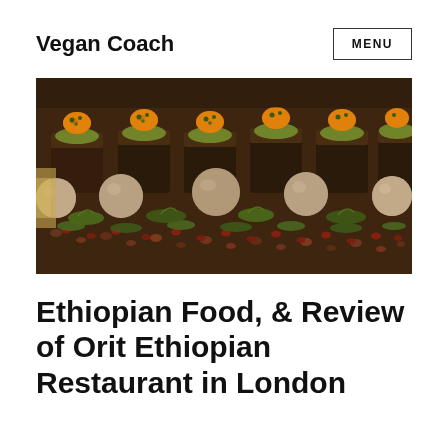Vegan Coach
MENU
[Figure (photo): Close-up photo of elaborate Ethiopian food dishes: dark chocolate-colored stacked items topped with orange garnishes, along with round brown dumplings or sauce spheres, microgreens, and red beans arranged on a platter.]
Ethiopian Food, & Review of Orit Ethiopian Restaurant in London